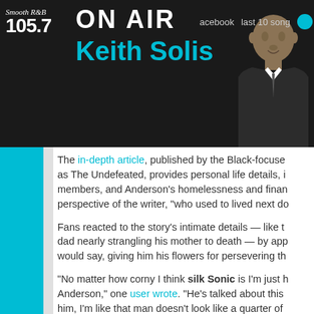Smooth R&B 105.7 — ON AIR Keith Solis
The in-depth article, published by the Black-focused as The Undefeated, provides personal life details, members, and Anderson's homelessness and financial perspective of the writer, "who used to lived next do
Fans reacted to the story's intimate details — like dad nearly strangling his mother to death — by app would say, giving him his flowers for persevering th
"No matter how corny I think silk Sonic is I'm just Anderson," one user wrote. "He's talked about this him, I'm like that man doesn't look like a quarter of
In line with many of the other Twitter posts, one us